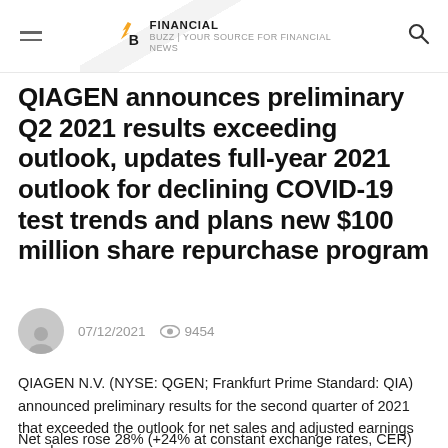Financial Buzz
QIAGEN announces preliminary Q2 2021 results exceeding outlook, updates full-year 2021 outlook for declining COVID-19 test trends and plans new $100 million share repurchase program
07/12/2021  9454
QIAGEN N.V. (NYSE: QGEN; Frankfurt Prime Standard: QIA) announced preliminary results for the second quarter of 2021 that exceeded the outlook for net sales and adjusted earnings per share.
Net sales rose 28% (+24% at constant exchange rates, CER)